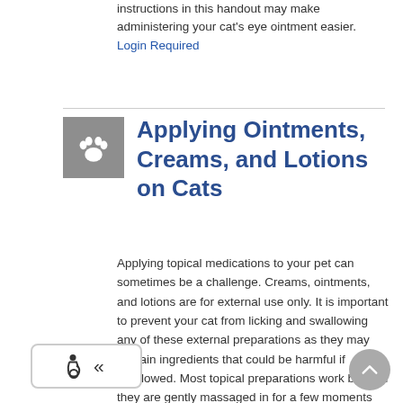instructions in this handout may make administering your cat's eye ointment easier.
Login Required
Applying Ointments, Creams, and Lotions on Cats
Applying topical medications to your pet can sometimes be a challenge. Creams, ointments, and lotions are for external use only. It is important to prevent your cat from licking and swallowing any of these external preparations as they may contain ingredients that could be harmful if swallowed. Most topical preparations work better if they are gently massaged in for a few moments after application. It is always a good idea to get someone to help hold your cat, especially when applying medications on a sensitive or painful area. If you still have trouble